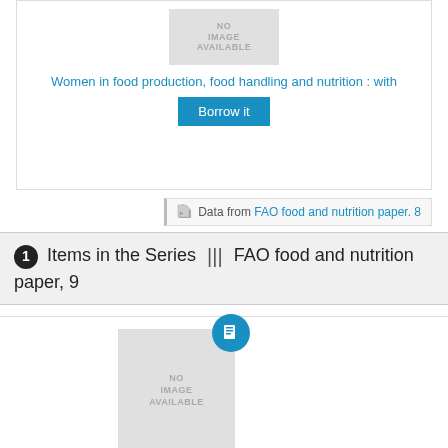[Figure (other): Book cover placeholder showing NO IMAGE AVAILABLE in gray]
Women in food production, food handling and nutrition : with
Borrow it
Data from FAO food and nutrition paper. 8
1 Items in the Series ||| FAO food and nutrition paper, 9
[Figure (other): Book cover placeholder showing NO IMAGE AVAILABLE in gray with blue book badge icon]